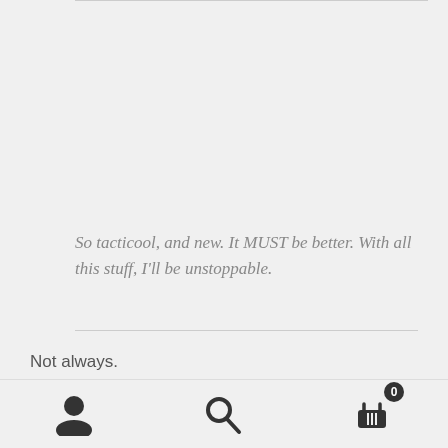So tacticool, and new. It MUST be better. With all this stuff, I'll be unstoppable.
Not always.
Though a newer version of something may come out, it's
Navigation footer with user, search, and cart icons